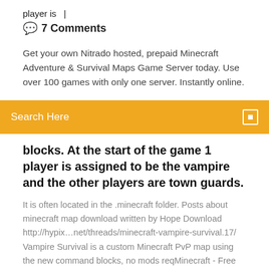player is  |
💬  7 Comments
Get your own Nitrado hosted, prepaid Minecraft Adventure & Survival Maps Game Server today. Use over 100 games with only one server. Instantly online.
Search Here
blocks. At the start of the game 1 player is assigned to be the vampire and the other players are town guards.
It is often located in the .minecraft folder. Posts about minecraft map download written by Hope Download http://hypix…net/threads/minecraft-vampire-survival.17/ Vampire Survival is a custom Minecraft PvP map using the new command blocks, no mods reqMinecraft - Free Server Spawn w/ Download (Factions, Survival…https://youtube.com/watch17. 7. 2015195 tis. zhlédnutiDeciced to share this awesome free